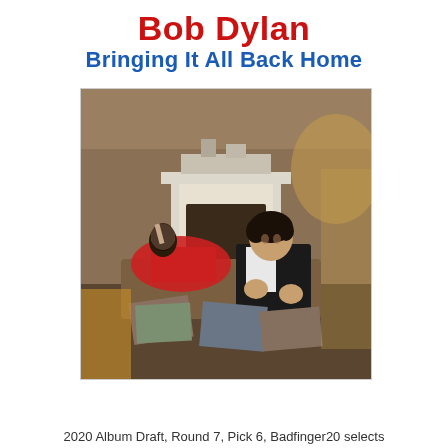Bob Dylan
Bringing It All Back Home
[Figure (photo): Album cover of Bob Dylan's 'Bringing It All Back Home' showing a woman in a red dress reclining on a sofa and Bob Dylan in the foreground near a fireplace, surrounded by scattered magazines and records]
2020 Album Draft, Round 7, Pick 6, Badfinger20 selects